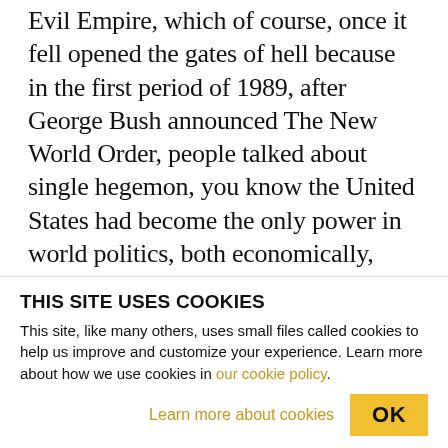Evil Empire, which of course, once it fell opened the gates of hell because in the first period of 1989, after George Bush announced The New World Order, people talked about single hegemon, you know the United States had become the only power in world politics, both economically, militarily, politically, and the rest of it. But then after the financial crisis, which then became economic and political, particularly in places like Greece and the wider Mediterranean, we have seen a new development in international politics, the creation of a multi-polar world. I mean, you mentioned Nixon supporting the Creek…
THIS SITE USES COOKIES
This site, like many others, uses small files called cookies to help us improve and customize your experience. Learn more about how we use cookies in our cookie policy.
Learn more about cookies   OK